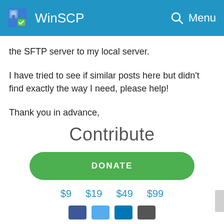WinSCP
the SFTP server to my local server.
I have tried to see if similar posts here but didn't find exactly the way I need, please help!
Thank you in advance,
Contribute
DONATE
$9  $19  $49  $99